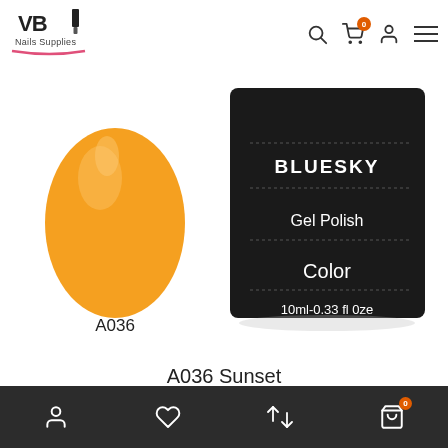[Figure (logo): VB Nails Supplies logo with nail brush icon]
[Figure (photo): Bluesky Gel Polish Color A036 Sunset - orange nail swatch on left, black jar with label on right showing BLUESKY Gel Polish Color 10ml-0.33 fl Oze]
A036 Sunset
£4.00